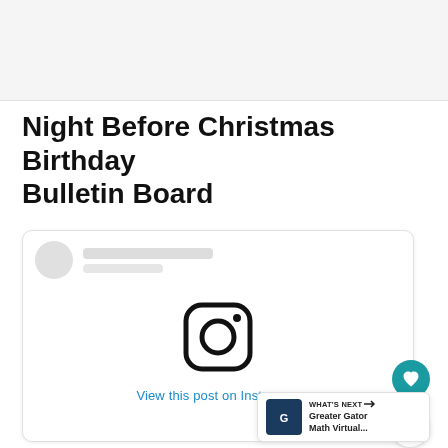[Figure (photo): Top image bar placeholder (light gray)]
Night Before Christmas Birthday Bulletin Board
[Figure (screenshot): Instagram post embed placeholder with avatar skeleton, Instagram logo, and 'View this post on Instagram' link. Floating heart and share buttons visible. 'What's Next' banner showing 'Greater Gator Math Virtual...']